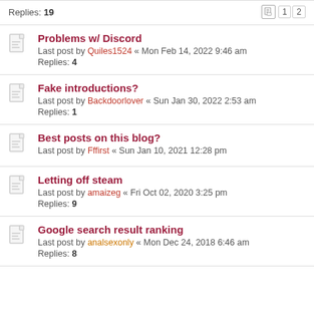Replies: 19
Problems w/ Discord
Last post by Quiles1524 « Mon Feb 14, 2022 9:46 am
Replies: 4
Fake introductions?
Last post by Backdoorlover « Sun Jan 30, 2022 2:53 am
Replies: 1
Best posts on this blog?
Last post by Fffirst « Sun Jan 10, 2021 12:28 pm
Letting off steam
Last post by amaizeg « Fri Oct 02, 2020 3:25 pm
Replies: 9
Google search result ranking
Last post by analsexonly « Mon Dec 24, 2018 6:46 am
Replies: 8